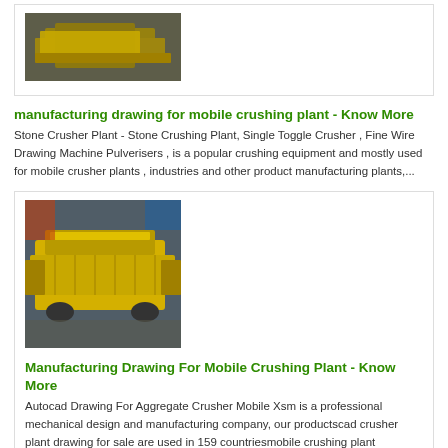[Figure (photo): Yellow industrial machine component, partial view at top of page]
manufacturing drawing for mobile crushing plant - Know More
Stone Crusher Plant - Stone Crushing Plant, Single Toggle Crusher , Fine Wire Drawing Machine Pulverisers , is a popular crushing equipment and mostly used for mobile crusher plants , industries and other product manufacturing plants,...
[Figure (photo): Yellow mobile crushing plant / screening machine in a workshop or factory setting]
Manufacturing Drawing For Mobile Crushing Plant - Know More
Autocad Drawing For Aggregate Crusher Mobile Xsm is a professional mechanical design and manufacturing company, our productscad crusher plant drawing for sale are used in 159 countriesmobile crushing plant manufacturers drawing mobile crusherg the layout of aggregate crushing and screening plant